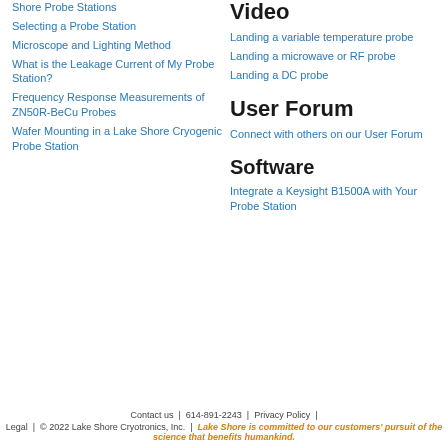Shore Probe Stations
Selecting a Probe Station
Microscope and Lighting Method
What is the Leakage Current of My Probe Station?
Frequency Response Measurements of ZN50R-BeCu Probes
Wafer Mounting in a Lake Shore Cryogenic Probe Station
Video
Landing a variable temperature probe
Landing a microwave or RF probe
Landing a DC probe
User Forum
Connect with others on our User Forum
Software
Integrate a Keysight B1500A with Your Probe Station
Contact us  |  614-891-2243  |  Privacy Policy  |  Legal  |  © 2022 Lake Shore Cryotronics, Inc.  |  Lake Shore is committed to our customers' pursuit of the science that benefits humankind.